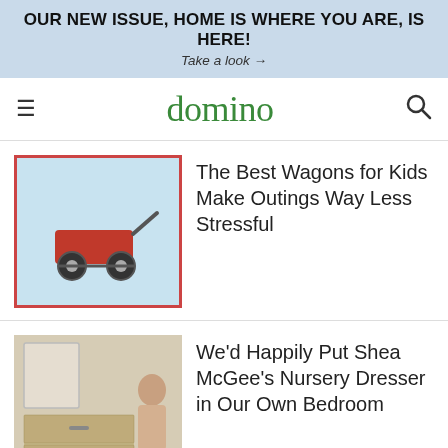OUR NEW ISSUE, HOME IS WHERE YOU ARE, IS HERE!
Take a look →
domino
The Best Wagons for Kids Make Outings Way Less Stressful
We'd Happily Put Shea McGee's Nursery Dresser in Our Own Bedroom
Designing Inclusive Spaces for Kids With...